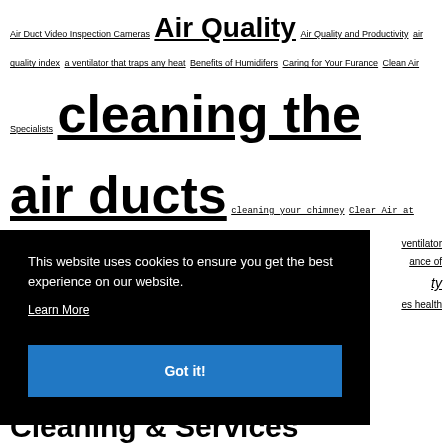Air Duct Video Inspection Cameras Air Quality Air Quality and Productivity air quality index a ventilator that traps any heat Benefits of Humidifers Caring for Your Furance Clean Air Specialists cleaning the air ducts cleaning your chimney Clear Air at Home dryer vent cleaning Duct & Vent Cleaning Companies In The GTA Area Electric Air Cleaners Toronto electronic air cleaners furnace cleaning ... ventilator ... ance of ... ty ... es health
This website uses cookies to ensure you get the best experience on our website. Learn More Got it!
Cleaning & Services